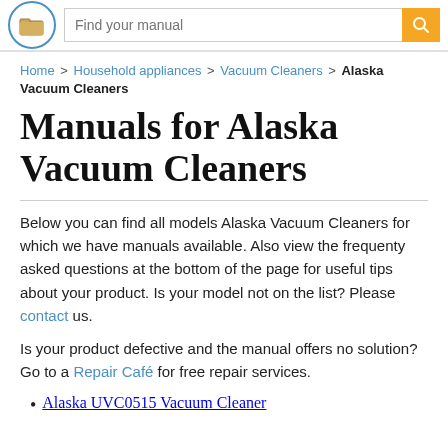Find your manual
Home > Household appliances > Vacuum Cleaners > Alaska Vacuum Cleaners
Manuals for Alaska Vacuum Cleaners
Below you can find all models Alaska Vacuum Cleaners for which we have manuals available. Also view the frequenty asked questions at the bottom of the page for useful tips about your product. Is your model not on the list? Please contact us.
Is your product defective and the manual offers no solution? Go to a Repair Café for free repair services.
Alaska UVC0515 Vacuum Cleaner